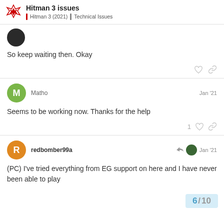Hitman 3 issues | Hitman 3 (2021) | Technical Issues
So keep waiting then. Okay
Matho  Jan '21
Seems to be working now. Thanks for the help
redbomber99a  Jan '21
(PC) I've tried everything from EG support on here and I have never been able to play